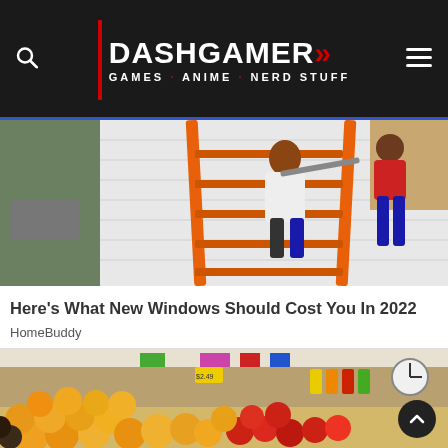DASHGAMER >> GAMES · ANIME · NERD STUFF
[Figure (photo): Workers on an orange ladder against the side of a white building, doing exterior window work]
Here's What New Windows Should Cost You In 2022
HomeBuddy
[Figure (photo): A colorful fruit market stand with oranges, apples, and other produce in the foreground, with a clock visible in the background]